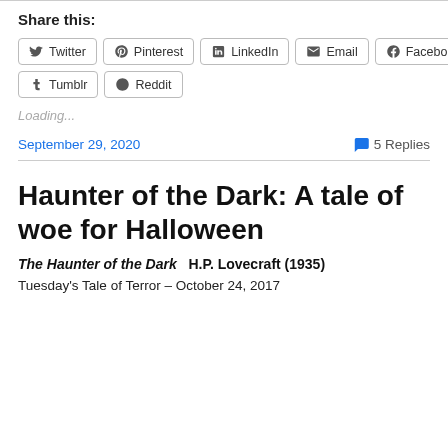Share this:
Twitter  Pinterest  LinkedIn  Email  Facebook  Tumblr  Reddit
Loading...
September 29, 2020
5 Replies
Haunter of the Dark: A tale of woe for Halloween
The Haunter of the Dark   H.P. Lovecraft (1935)
Tuesday's Tale of Terror – October 24, 2017